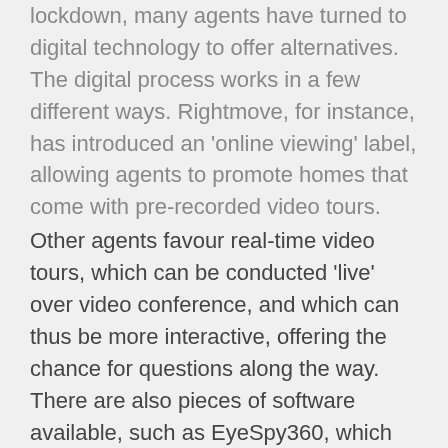[clipped top] lockdown, many agents have turned to digital technology to offer alternatives. The digital process works in a few different ways. Rightmove, for instance, has introduced an 'online viewing' label, allowing agents to promote homes that come with pre-recorded video tours. Other agents favour real-time video tours, which can be conducted 'live' over video conference, and which can thus be more interactive, offering the chance for questions along the way. There are also pieces of software available, such as EyeSpy360, which allows agents to create 360-degree virtual walkthroughs and models of properties, for potential buyers to view [clipped bottom] from where they are in the world.